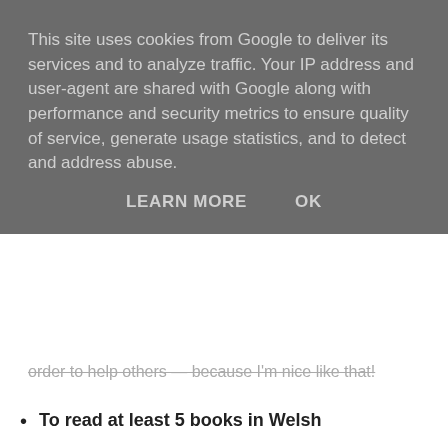This site uses cookies from Google to deliver its services and to analyze traffic. Your IP address and user-agent are shared with Google along with performance and security metrics to ensure quality of service, generate usage statistics, and to detect and address abuse.
LEARN MORE    OK
order to help others — because I'm nice like that!
To read at least 5 books in Welsh
Yeah... I haven't started this one.
I only mean to read like, really easy kids books, but I still haven't got around to it. Welsh is hard! ...So I kind of keep putting it off.